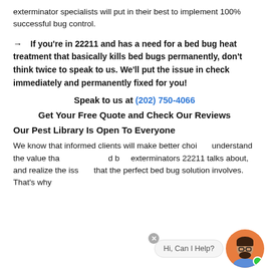exterminator specialists will put in their best to implement 100% successful bug control.
→ If you're in 22211 and has a need for a bed bug heat treatment that basically kills bed bugs permanently, don't think twice to speak to us. We'll put the issue in check immediately and permanently fixed for you!
Speak to us at (202) 750-4066
Get Your Free Quote and Check Our Reviews
Our Pest Library Is Open To Everyone
We know that informed clients will make better choices, understand the value that we – the best bed bug exterminators 22211 talks about, and realize the issues that the perfect bed bug solution involves. That's why